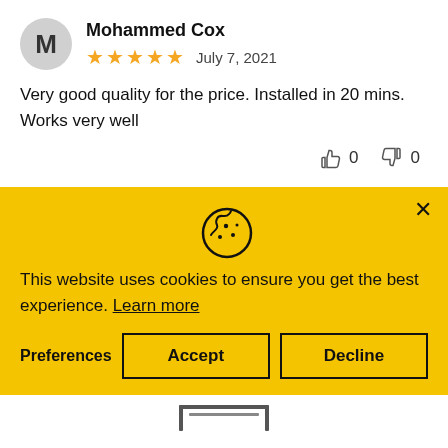Mohammed Cox
★★★★★  July 7, 2021
Very good quality for the price. Installed in 20 mins. Works very well
👍 0  👎 0
This website uses cookies to ensure you get the best experience. Learn more
Preferences  Accept  Decline